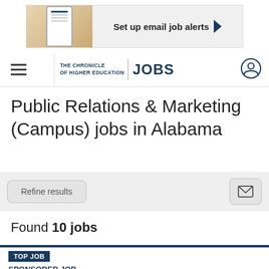[Figure (screenshot): Advertisement banner: image of a hand holding a phone with alert notification, text 'Set up email job alerts' with dark arrow button]
THE CHRONICLE OF HIGHER EDUCATION | JOBS
Public Relations & Marketing (Campus) jobs in Alabama
Refine results
Found 10 jobs
TOP JOB
SPONSORED JOB
Executive Director of Public Affairs and